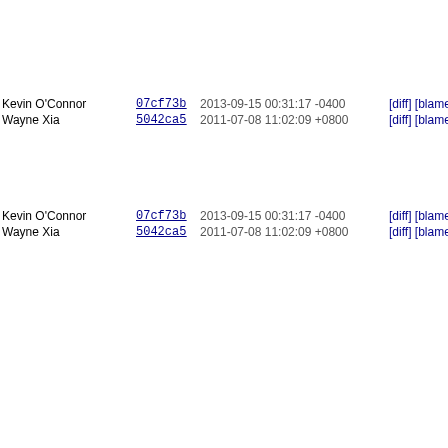| author | commit | date | links | linenum | code |
| --- | --- | --- | --- | --- | --- |
|  |  |  |  | 64 |  |
|  |  |  |  | 65 |  |
|  |  |  |  | 66 |  |
|  |  |  |  | 67 |  |
|  |  |  |  | 68 | } |
|  |  |  |  | 69 |  |
| Kevin O'Connor | 07cf73b | 2013-09-15 00:31:17 -0400 | [diff] [blame] | 70 | /* a |
| Wayne Xia | 5042ca5 | 2011-07-08 11:02:09 +0800 | [diff] [blame] | 71 | str |
|  |  |  |  | 72 | { |
|  |  |  |  | 73 |  |
|  |  |  |  | 74 |  |
|  |  |  |  | 75 | } |
|  |  |  |  | 76 |  |
| Kevin O'Connor | 07cf73b | 2013-09-15 00:31:17 -0400 | [diff] [blame] | 77 | /* e |
| Wayne Xia | 5042ca5 | 2011-07-08 11:02:09 +0800 | [diff] [blame] | 78 | int |
|  |  |  |  | 79 | { |
|  |  |  |  | 80 |  |
|  |  |  |  | 81 |  |
|  |  |  |  | 82 |  |
|  |  |  |  | 83 |  |
|  |  |  |  | 84 |  |
|  |  |  |  | 85 |  |
|  |  |  |  | 86 |  |
|  |  |  |  | 87 |  |
|  |  |  |  | 88 |  |
|  |  |  |  | 89 |  |